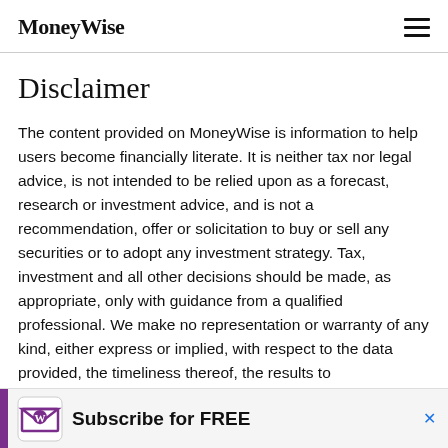MoneyWise
Disclaimer
The content provided on MoneyWise is information to help users become financially literate. It is neither tax nor legal advice, is not intended to be relied upon as a forecast, research or investment advice, and is not a recommendation, offer or solicitation to buy or sell any securities or to adopt any investment strategy. Tax, investment and all other decisions should be made, as appropriate, only with guidance from a qualified professional. We make no representation or warranty of any kind, either express or implied, with respect to the data provided, the timeliness thereof, the results to
[Figure (infographic): Subscribe for FREE advertisement banner with MoneyWise envelope logo icon and purple bar on left side, with a close (x) button in blue]